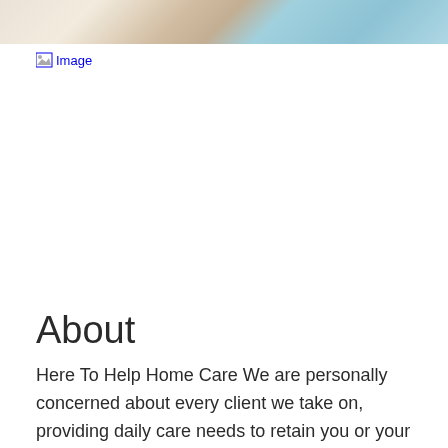[Figure (photo): Cropped photo showing elderly person with hands resting on a surface, and another person in blue clothing writing with a pen — a home care or document signing scene.]
[Figure (photo): Broken image placeholder labeled 'Image']
About
Here To Help Home Care We are personally concerned about every client we take on, providing daily care needs to retain you or your loved one at home. From senior care, bed rest care, injury and surgery recovery care, rehabilitation assistance, and